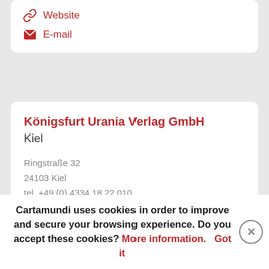Website
E-mail
Königsfurt Urania Verlag GmbH
Kiel
Ringstraße 32
24103 Kiel
tel. +49 (0) 4334 18 22 010
fax +49 (0)4334 18 22 011
HRB 8787 KI
Website
E-mail
Cartamundi uses cookies in order to improve and secure your browsing experience. Do you accept these cookies? More information. Got it